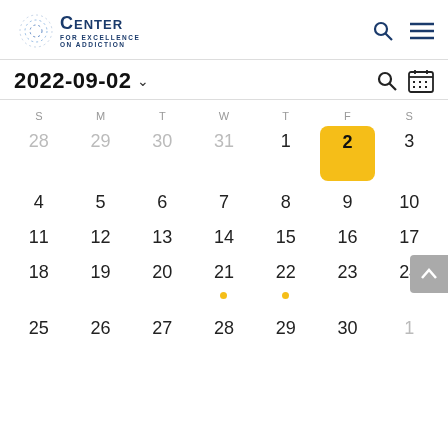CENTER FOR EXCELLENCE ON ADDICTION
2022-09-02
| S | M | T | W | T | F | S |
| --- | --- | --- | --- | --- | --- | --- |
| 28 | 29 | 30 | 31 | 1 | 2 | 3 |
| 4 | 5 | 6 | 7 | 8 | 9 | 10 |
| 11 | 12 | 13 | 14 | 15 | 16 | 17 |
| 18 | 19 | 20 | 21 | 22 | 23 | 24 |
| 25 | 26 | 27 | 28 | 29 | 30 | 1 |